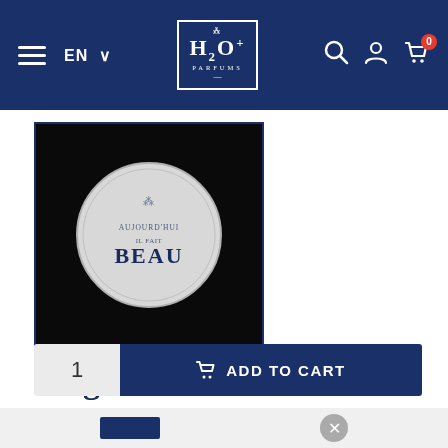H2O Parfums — EN — navigation bar with search, account, cart (0)
[Figure (photo): Product photo of a circular magnet on black background. The magnet is round, white/grey, with decorative motif on top and text 'AUJOURD'HUI IL FAIT BEAU' and 'BEAU' prominently displayed.]
Magnet " Il vaux mieux qu'il pleuve aujourd'hui plutôt qu'un jour où il fait beau"
€4.50
1   ADD TO CART